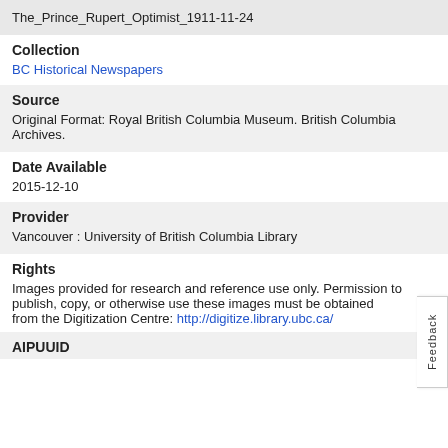The_Prince_Rupert_Optimist_1911-11-24
Collection
BC Historical Newspapers
Source
Original Format: Royal British Columbia Museum. British Columbia Archives.
Date Available
2015-12-10
Provider
Vancouver : University of British Columbia Library
Rights
Images provided for research and reference use only. Permission to publish, copy, or otherwise use these images must be obtained from the Digitization Centre: http://digitize.library.ubc.ca/
AIPUUID